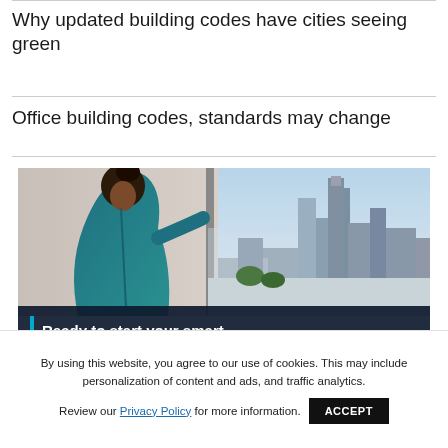Why updated building codes have cities seeing green
Office building codes, standards may change
[Figure (photo): Woman looking out a window at a city skyline (San Francisco), with an overlay banner reading 'Ready to start your smart building journey?']
By using this website, you agree to our use of cookies. This may include personalization of content and ads, and traffic analytics.
Review our Privacy Policy for more information.